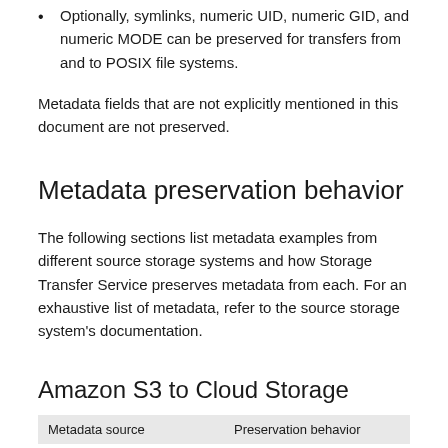Optionally, symlinks, numeric UID, numeric GID, and numeric MODE can be preserved for transfers from and to POSIX file systems.
Metadata fields that are not explicitly mentioned in this document are not preserved.
Metadata preservation behavior
The following sections list metadata examples from different source storage systems and how Storage Transfer Service preserves metadata from each. For an exhaustive list of metadata, refer to the source storage system's documentation.
Amazon S3 to Cloud Storage
| Metadata source | Preservation behavior |
| --- | --- |